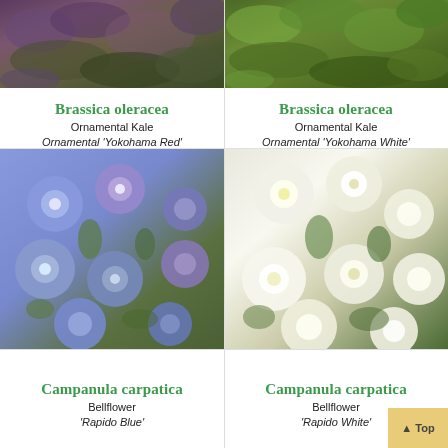[Figure (photo): Close-up photo of ornamental kale with purple-green ruffled leaves, Yokohama Red variety]
[Figure (photo): Close-up photo of ornamental kale with bright green ruffled leaves, Yokohama White variety]
Brassica oleracea
Ornamental Kale
Ornamental 'Yokohama Red'
Brassica oleracea
Ornamental Kale
Ornamental 'Yokohama White'
[Figure (photo): Photo of Campanula carpatica flowers in blue-purple, Rapido Blue cultivar]
[Figure (photo): Photo of Campanula carpatica flowers in white, Rapido White cultivar]
Campanula carpatica
Bellflower
'Rapido Blue'
Campanula carpatica
Bellflower
'Rapido White'